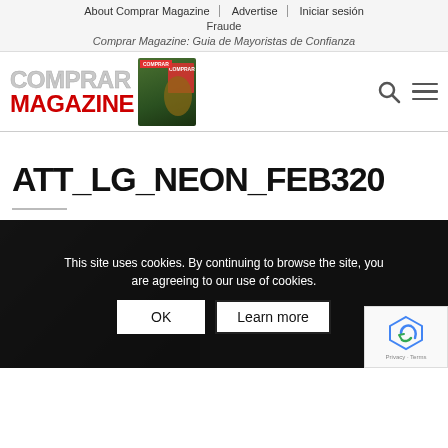About Comprar Magazine | Advertise | Iniciar sesión
Fraude
Comprar Magazine: Guia de Mayoristas de Confianza
[Figure (logo): Comprar Magazine logo with red MAGAZINE text and magazine cover image thumbnail]
ATT_LG_NEON_FEB320
[Figure (screenshot): Cookie consent overlay on dark background with device image: 'This site uses cookies. By continuing to browse the site, you are agreeing to our use of cookies.' with OK and Learn more buttons, and reCAPTCHA badge]